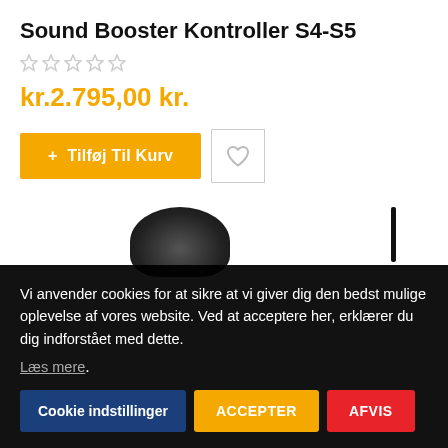Sound Booster Kontroller S4-S5
[Figure (other): Five empty star rating icons in grey]
kr.2.795,00 kr.
[Figure (other): Add to cart button (orange) with '+  Tilføj Til Kurv' text and a wishlist heart button]
[Figure (photo): Partial product image showing a black round speaker/controller device and a vertical black bar on the right]
Vi anvender cookies for at sikre at vi giver dig den bedst mulige oplevelse af vores website. Ved at acceptere her, erklærer du dig indforstået med dette.
Læs mere.
Cookie indstillinger   ACCEPTER   AFVIS